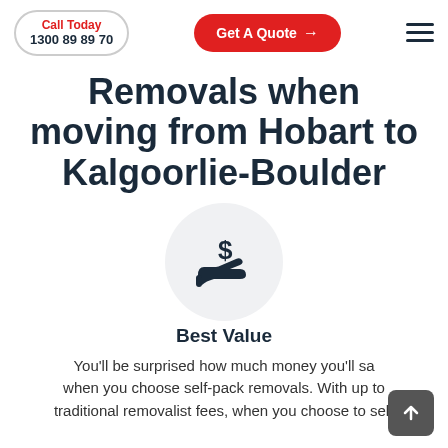Call Today 1300 89 89 70 | Get A Quote →
Removals when moving from Hobart to Kalgoorlie-Boulder
[Figure (illustration): A circular light grey icon showing a hand receiving a dollar sign, representing best value or cost savings.]
Best Value
You'll be surprised how much money you'll sa... when you choose self-pack removals. With up to traditional removalist fees, when you choose to sei-